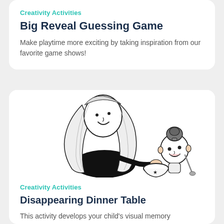Creativity Activities
Big Reveal Guessing Game
Make playtime more exciting by taking inspiration from our favorite game shows!
[Figure (illustration): Black and white line drawing of a woman with long hair leaning over a bowl, with a young child with hair in a bun looking on.]
Creativity Activities
Disappearing Dinner Table
This activity develops your child's visual memory